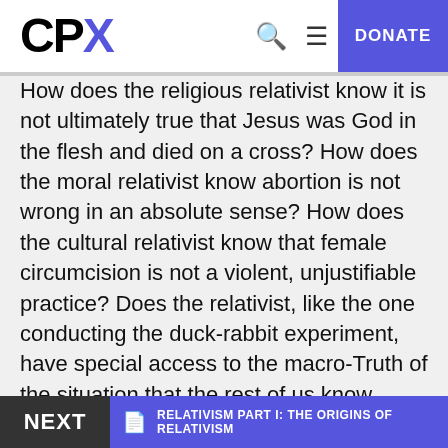[Figure (logo): CPX logo with CP in black bold and X in blue]
How does the religious relativist know it is not ultimately true that Jesus was God in the flesh and died on a cross? How does the moral relativist know abortion is not wrong in an absolute sense? How does the cultural relativist know that female circumcision is not a violent, unjustifiable practice? Does the relativist, like the one conducting the duck-rabbit experiment, have special access to the macro-Truth of the situation that the rest of us know nothing about?
NEXT  RELATIVISM PART I: THE ORIGINS OF RELATIVISM